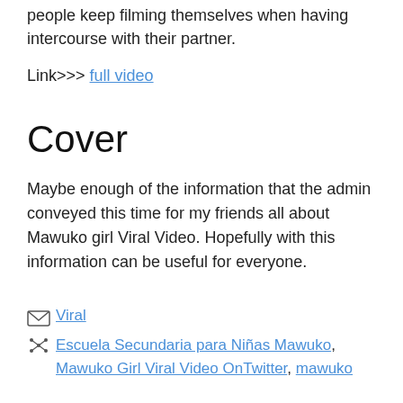people keep filming themselves when having intercourse with their partner.
Link>>> full video
Cover
Maybe enough of the information that the admin conveyed this time for my friends all about Mawuko girl Viral Video. Hopefully with this information can be useful for everyone.
Viral
Escuela Secundaria para Niñas Mawuko, Mawuko Girl Viral Video OnTwitter, mawuko